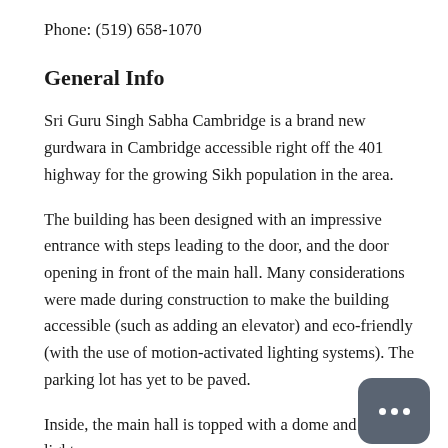Phone: (519) 658-1070
General Info
Sri Guru Singh Sabha Cambridge is a brand new gurdwara in Cambridge accessible right off the 401 highway for the growing Sikh population in the area.
The building has been designed with an impressive entrance with steps leading to the door, and the door opening in front of the main hall. Many considerations were made during construction to make the building accessible (such as adding an elevator) and eco-friendly (with the use of motion-activated lighting systems). The parking lot has yet to be paved.
Inside, the main hall is topped with a dome and natural light